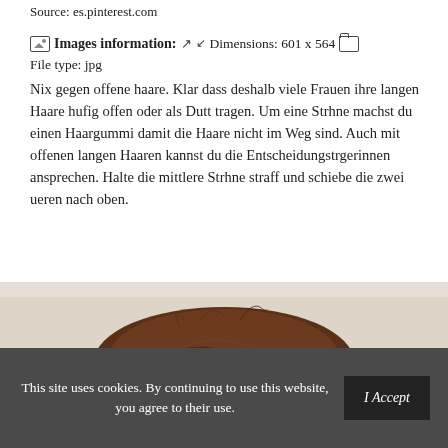Source: es.pinterest.com
Images information: ↗ ↙ Dimensions: 601 x 564 □ File type: jpg
Nix gegen offene haare. Klar dass deshalb viele Frauen ihre langen Haare hufig offen oder als Dutt tragen. Um eine Strhne machst du einen Haargummi damit die Haare nicht im Weg sind. Auch mit offenen langen Haaren kannst du die Entscheidungstrgerinnen ansprechen. Halte die mittlere Strhne straff und schiebe die zwei ueren nach oben.
[Figure (photo): Close-up photo of a dark brown hair bun/updo hairstyle against a light beige background]
This site uses cookies. By continuing to use this website, you agree to their use. I Accept